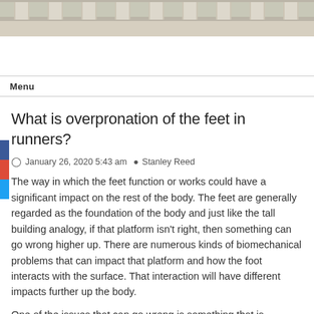[Figure (photo): Photograph of a classical building facade with white stone columns]
Menu
What is overpronation of the feet in runners?
January 26, 2020 5:43 am  Stanley Reed
The way in which the feet function or works could have a significant impact on the rest of the body. The feet are generally regarded as the foundation of the body and just like the tall building analogy, if that platform isn't right, then something can go wrong higher up. There are numerous kinds of biomechanical problems that can impact that platform and how the foot interacts with the surface. That interaction will have different impacts further up the body.
One of the issues that can go wrong is something that is generally